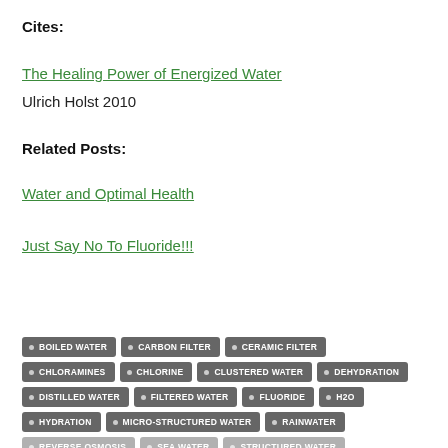Cites:
The Healing Power of Energized Water
Ulrich Holst 2010
Related Posts:
Water and Optimal Health
Just Say No To Fluoride!!!
BOILED WATER
CARBON FILTER
CERAMIC FILTER
CHLORAMINES
CHLORINE
CLUSTERED WATER
DEHYDRATION
DISTILLED WATER
FILTERED WATER
FLUORIDE
H2O
HYDRATION
MICRO-STRUCTURED WATER
RAINWATER